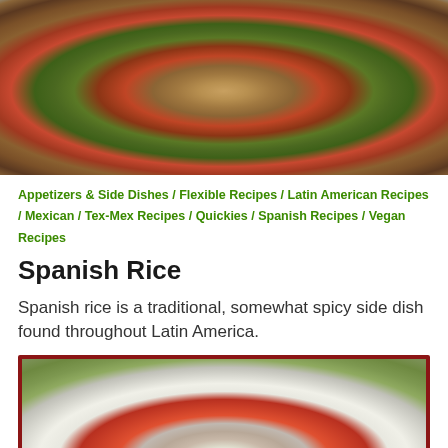[Figure (photo): Photo of Spanish rice in a blue/gray bowl, showing rice with red peppers and green vegetables]
Appetizers & Side Dishes / Flexible Recipes / Latin American Recipes / Mexican / Tex-Mex Recipes / Quickies / Spanish Recipes / Vegan Recipes
Spanish Rice
Spanish rice is a traditional, somewhat spicy side dish found throughout Latin America.
[Figure (photo): Photo of a green plate with macaroni pasta and rice topped with red tomato sauce]